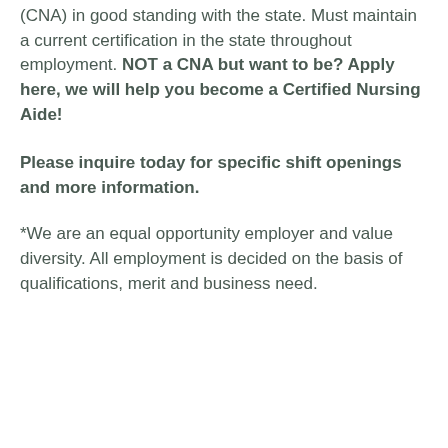(CNA) in good standing with the state. Must maintain a current certification in the state throughout employment. NOT a CNA but want to be? Apply here, we will help you become a Certified Nursing Aide!
Please inquire today for specific shift openings and more information.
*We are an equal opportunity employer and value diversity. All employment is decided on the basis of qualifications, merit and business need.